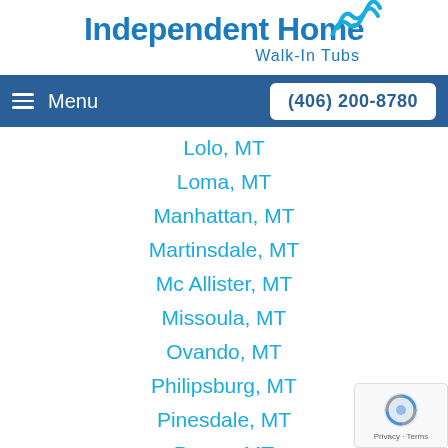[Figure (logo): Independent Home Walk-In Tubs logo with wave icon and blue text]
Menu  (406) 200-8780
Lolo, MT
Loma, MT
Manhattan, MT
Martinsdale, MT
Mc Allister, MT
Missoula, MT
Ovando, MT
Philipsburg, MT
Pinesdale, MT
Power, MT
Ramsay, MT